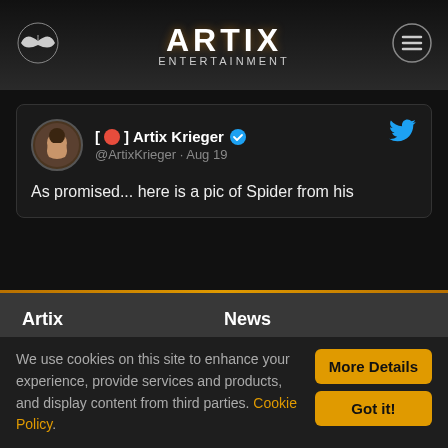ARTIX ENTERTAINMENT
[Figure (screenshot): Tweet by Artix Krieger (@ArtixKrieger) dated Aug 19: 'As promised... here is a pic of Spider from his']
Artix
Careers at Artix
Contact Us
News
AQWorlds News
AdventureQuest 3D News
We use cookies on this site to enhance your experience, provide services and products, and display content from third parties. Cookie Policy.